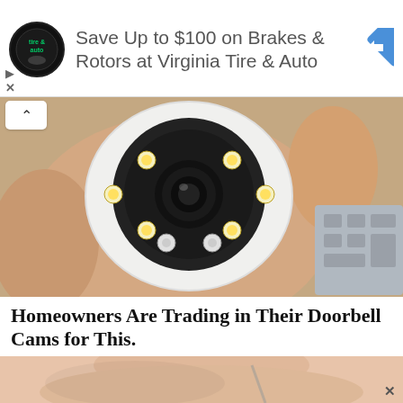[Figure (screenshot): Advertisement banner for Virginia Tire & Auto with circular logo, text 'Save Up to $100 on Brakes & Rotors at Virginia Tire & Auto', and a blue diamond-shaped arrow icon]
[Figure (photo): Close-up photo of a hand holding a small white security camera with circular lens and LED lights]
Homeowners Are Trading in Their Doorbell Cams for This.
Keilini.com
[Figure (photo): Partial photo showing a person's neck and shoulder area with a thin strap visible, bottom advertisement image]